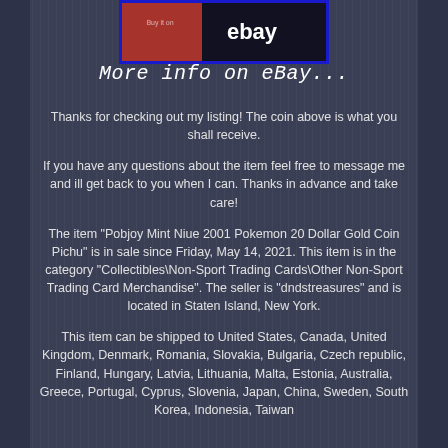[Figure (photo): eBay banner/logo image with red and dark background showing 'ebay' text]
More info on eBay...
Thanks for checking out my listing! The coin above is what you shall receive.
If you have any questions about the item feel free to message me and ill get back to you when I can. Thanks in advance and take care!
The item "Pobjoy Mint Niue 2001 Pokemon 20 Dollar Gold Coin Pichu" is in sale since Friday, May 14, 2021. This item is in the category "Collectibles\Non-Sport Trading Cards\Other Non-Sport Trading Card Merchandise". The seller is "dndstreasures" and is located in Staten Island, New York.
This item can be shipped to United States, Canada, United Kingdom, Denmark, Romania, Slovakia, Bulgaria, Czech republic, Finland, Hungary, Latvia, Lithuania, Malta, Estonia, Australia, Greece, Portugal, Cyprus, Slovenia, Japan, China, Sweden, South Korea, Indonesia, Taiwan